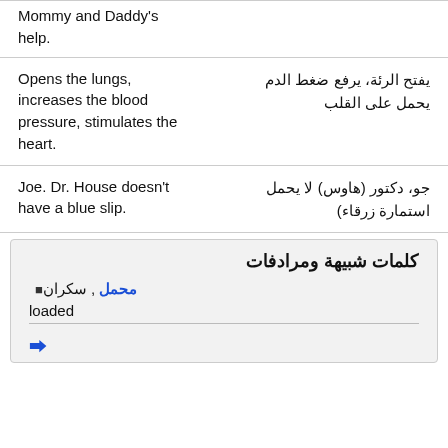Mommy and Daddy's help.
يفتح الرئة، يرفع ضغط الدم يحمل على القلب
Opens the lungs, increases the blood pressure, stimulates the heart.
جو، دكتور (هاوس) لا يحمل استمارة زرقاء)
Joe. Dr. House doesn't have a blue slip.
كلمات شبيهة ومرادفات
محمل , سكران
loaded